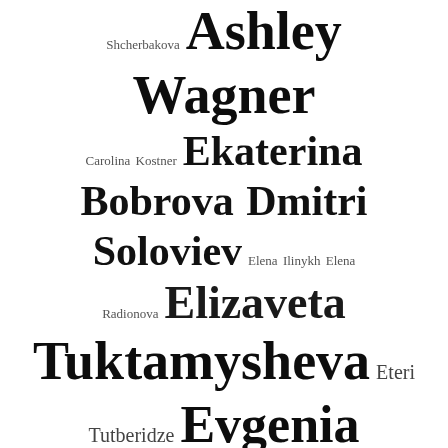[Figure (infographic): Tag cloud / word cloud featuring figure skating related names and terms in varying font sizes indicating frequency/prominence. Names include Ashley Wagner, Ekaterina Bobrova, Dmitri Soloviev, Elena Ilinykh, Elena Radionova, Elizaveta Tuktamysheva, Eteri Tutberidze, Evgenia Medvedeva, Evgeni Plushenko, Gabriella Papadakis, Guillaume Cizeron, ice dance, interview, Jason Brown, Javier Fernandez, Kaitlin Hawayek, Jean-Luc Baker, Kaitlyn Weaver, Andrew Poje, Ksenia Stolbova, Fedor Klimov, ladies, Madison Chock, Evan Bates, Madison Hubbell, Zachary Donohue, Maia Shibutani, Alex, Carolina Kostner, Shcherbakova.]